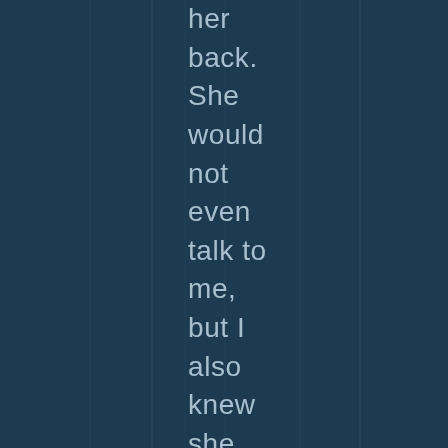her back. She would not even talk to me, but I also knew she still loved me, and I loved her. How